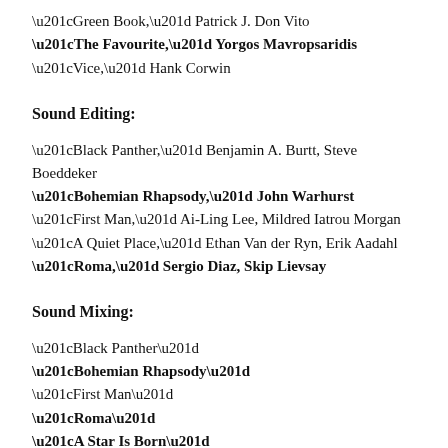“Green Book,” Patrick J. Don Vito
“The Favourite,” Yorgos Mavropsaridis
“Vice,” Hank Corwin
Sound Editing:
“Black Panther,” Benjamin A. Burtt, Steve Boeddeker
“Bohemian Rhapsody,” John Warhurst
“First Man,” Ai-Ling Lee, Mildred Iatrou Morgan
“A Quiet Place,” Ethan Van der Ryn, Erik Aadahl
“Roma,” Sergio Diaz, Skip Lievsay
Sound Mixing:
“Black Panther”
“Bohemian Rhapsody”
“First Man”
“Roma”
“A Star Is Born”